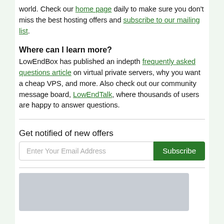world. Check our home page daily to make sure you don't miss the best hosting offers and subscribe to our mailing list.
Where can I learn more?
LowEndBox has published an indepth frequently asked questions article on virtual private servers, why you want a cheap VPS, and more. Also check out our community message board, LowEndTalk, where thousands of users are happy to answer questions.
Get notified of new offers
Enter Your Email Address  Subscribe
[Figure (other): Grey placeholder image/advertisement block]